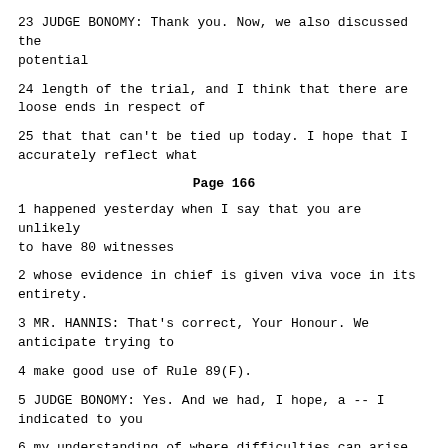23 JUDGE BONOMY: Thank you. Now, we also discussed the potential
24 length of the trial, and I think that there are loose ends in respect of
25 that that can't be tied up today. I hope that I accurately reflect what
Page 166
1 happened yesterday when I say that you are unlikely to have 80 witnesses
2 whose evidence in chief is given viva voce in its entirety.
3 MR. HANNIS: That's correct, Your Honour. We anticipate trying to
4 make good use of Rule 89(F).
5 JUDGE BONOMY: Yes. And we had, I hope, a -- I indicated to you
6 my understanding of where difficulties can arise when a witness's evidence
7 appears to be unbalanced in the sense that the bulk of his oral evidence